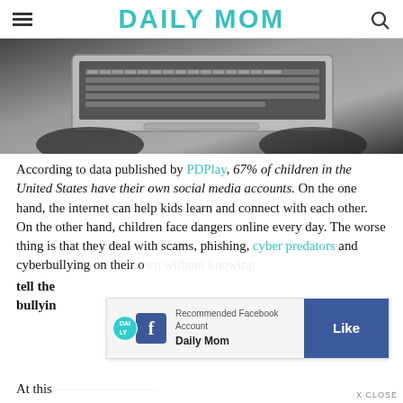DAILY MOM
[Figure (photo): Black and white photo of hands typing on a laptop keyboard, viewed from above at an angle]
According to data published by PDPlay, 67% of children in the United States have their own social media accounts. On the one hand, the internet can help kids learn and connect with each other. On the other hand, children face dangers online every day. The worse thing is that they deal with scams, phishing, cyber predators and cyberbullying on their o... tell the... bullyin...
At this... threat.